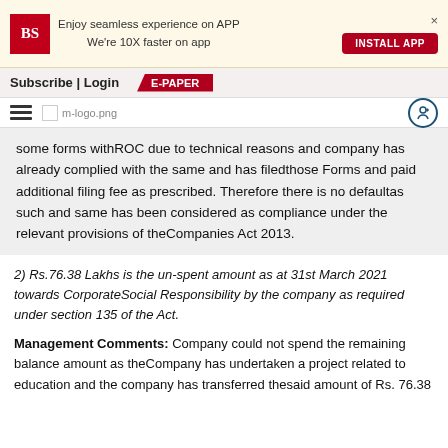Enjoy seamless experience on APP
We're 10X faster on app
INSTALL APP
Subscribe | Login  E-PAPER
[Figure (logo): Hamburger menu, m-logo.png, and circle icon navigation bar]
some forms withROC due to technical reasons and company has already complied with the same and has filedthose Forms and paid additional filing fee as prescribed. Therefore there is no defaultas such and same has been considered as compliance under the relevant provisions of theCompanies Act 2013.
2) Rs.76.38 Lakhs is the un-spent amount as at 31st March 2021 towards CorporateSocial Responsibility by the company as required under section 135 of the Act.
Management Comments: Company could not spend the remaining balance amount as theCompany has undertaken a project related to education and the company has transferred thesaid amount of Rs. 76.38